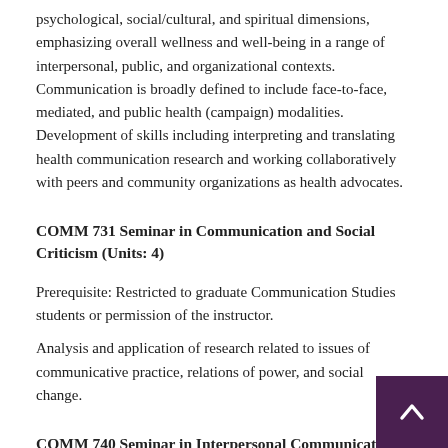psychological, social/cultural, and spiritual dimensions, emphasizing overall wellness and well-being in a range of interpersonal, public, and organizational contexts. Communication is broadly defined to include face-to-face, mediated, and public health (campaign) modalities. Development of skills including interpreting and translating health communication research and working collaboratively with peers and community organizations as health advocates.
COMM 731 Seminar in Communication and Social Criticism (Units: 4)
Prerequisite: Restricted to graduate Communication Studies students or permission of the instructor.
Analysis and application of research related to issues of communicative practice, relations of power, and social change.
COMM 740 Seminar in Interpersonal Communication (Units: 4)
Prerequisite: Restricted to graduate Communication Studies students or permission of the instructor.